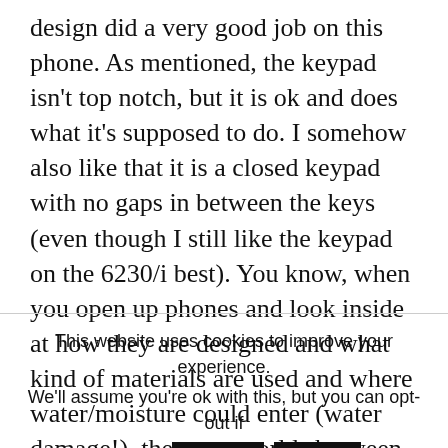design did a very good job on this phone. As mentioned, the keypad isn't top notch, but it is ok and does what it's supposed to do. I somehow also like that it is a closed keypad with no gaps in between the keys (even though I still like the keypad on the 6230/i best). You know, when you open up phones and look inside at how they are designed and what kind of materials are used and where water/moisture could enter (water damage!), there are worlds between Nokia + SonyEriccson
This website uses cookies to improve your experience. We'll assume you're ok with this, but you can opt-out if you wish. Accept Reject Privacy policy (German only)